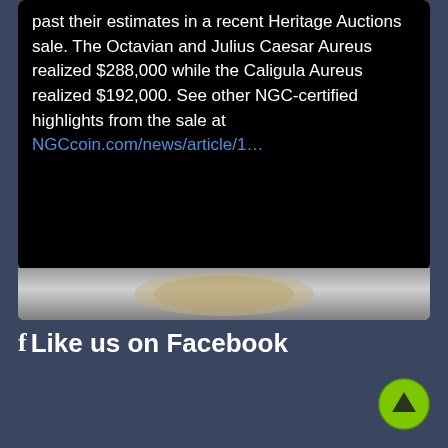past their estimates in a recent Heritage Auctions sale. The Octavian and Julius Caesar Aureus realized $288,000 while the Caligula Aureus realized $192,000. See other NGC-certified highlights from the sale at NGCcoin.com/news/article/1...
[Figure (photo): Partial view of a coin or medallion image strip at the bottom of the card]
Like us on Facebook